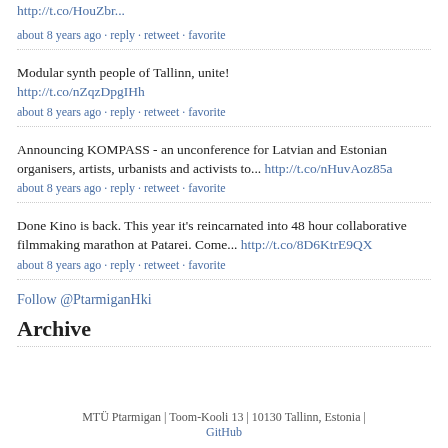http://t.co/HouZbr…
about 8 years ago · reply · retweet · favorite
Modular synth people of Tallinn, unite! http://t.co/nZqzDpgIHh
about 8 years ago · reply · retweet · favorite
Announcing KOMPASS - an unconference for Latvian and Estonian organisers, artists, urbanists and activists to... http://t.co/nHuvAoz85a
about 8 years ago · reply · retweet · favorite
Done Kino is back. This year it's reincarnated into 48 hour collaborative filmmaking marathon at Patarei. Come... http://t.co/8D6KtrE9QX
about 8 years ago · reply · retweet · favorite
Follow @PtarmiganHki
Archive
MTÜ Ptarmigan | Toom-Kooli 13 | 10130 Tallinn, Estonia | GitHub